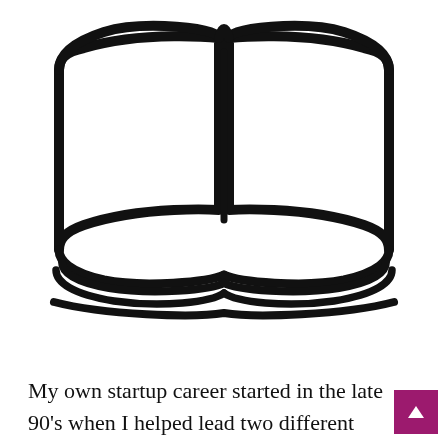[Figure (illustration): Open book icon — a simple black outline of an open book with two pages spread flat, curved pages at the bottom, and a spine in the center with a bookmark/tab at the top. The pages curve up at the top to form an arch shape.]
My own startup career started in the late 90's when I helped lead two different